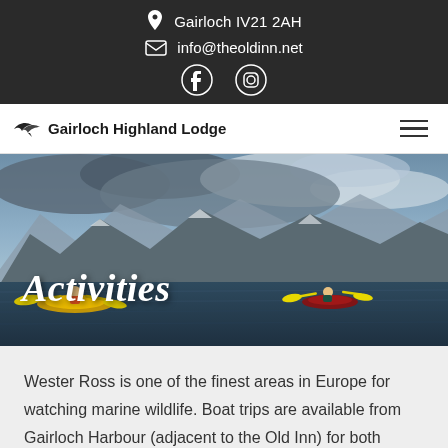Gairloch IV21 2AH
info@theoldinn.net
[Figure (photo): Kayaking scene on a Scottish loch with mountains (likely Torridon/Beinn Eighe) in the background, dramatic cloudy sky. Two kayakers on the water with yellow paddles.]
Activities
Wester Ross is one of the finest areas in Europe for watching marine wildlife. Boat trips are available from Gairloch Harbour (adjacent to the Old Inn) for both